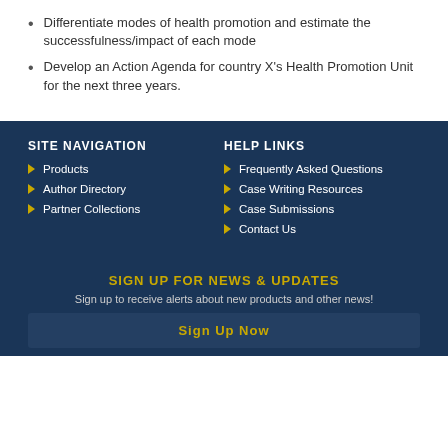Differentiate modes of health promotion and estimate the successfulness/impact of each mode
Develop an Action Agenda for country X's Health Promotion Unit for the next three years.
SITE NAVIGATION
Products
Author Directory
Partner Collections
HELP LINKS
Frequently Asked Questions
Case Writing Resources
Case Submissions
Contact Us
SIGN UP FOR NEWS & UPDATES
Sign up to receive alerts about new products and other news!
Sign Up Now